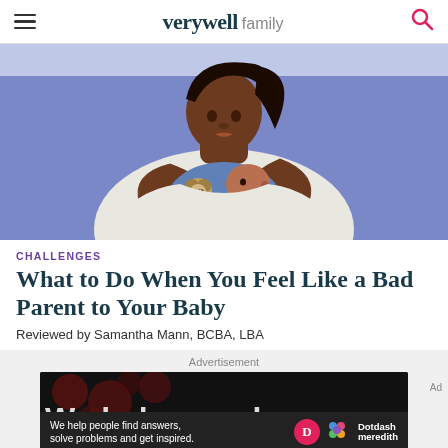verywell family
[Figure (illustration): Illustration of a dark-skinned mother kissing her baby, who holds a sloth toy, against a blue-purple background]
CHALLENGES
What to Do When You Feel Like a Bad Parent to Your Baby
Reviewed by Samantha Mann, BCBA, LBA
Advertisement
[Figure (screenshot): Advertisement banner: 'We help people find answers, solve problems and get inspired.' with Dotdash Meredith logo]